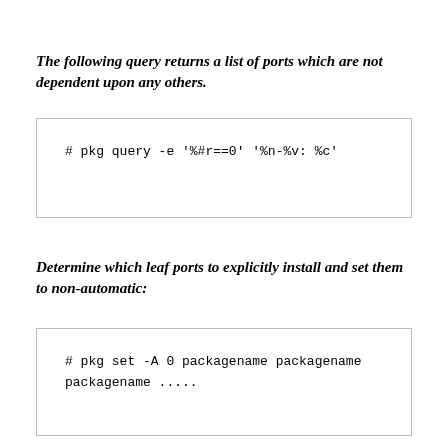The following query returns a list of ports which are not dependent upon any others.
# pkg query -e '%#r==0' '%n-%v: %c'
Determine which leaf ports to explicitly install and set them to non-automatic:
# pkg set -A 0 packagename packagename packagename .....